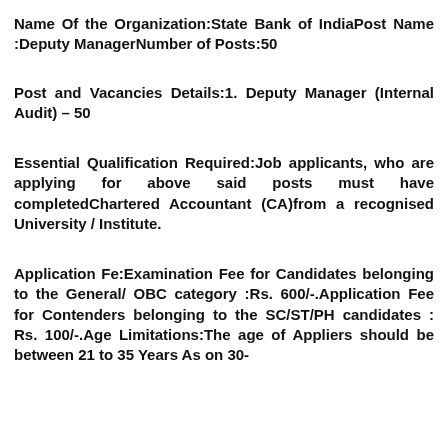Name Of the Organization:State Bank of IndiaPost Name :Deputy ManagerNumber of Posts:50
Post and Vacancies Details:1. Deputy Manager (Internal Audit) – 50
Essential Qualification Required:Job applicants, who are applying for above said posts must have completedChartered Accountant (CA)from a recognised University / Institute.
Application Fe:Examination Fee for Candidates belonging to the General/ OBC category :Rs. 600/-.Application Fee for Contenders belonging to the SC/ST/PH candidates : Rs. 100/-.Age Limitations:The age of Appliers should be between 21 to 35 Years As on 30-